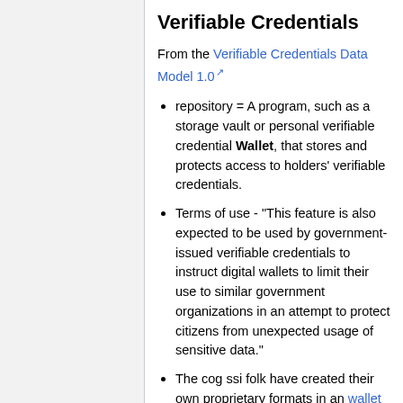Verifiable Credentials
From the Verifiable Credentials Data Model 1.0
repository = A program, such as a storage vault or personal verifiable credential Wallet, that stores and protects access to holders' verifiable credentials.
Terms of use - "This feature is also expected to be used by government-issued verifiable credentials to instruct digital wallets to limit their use to similar government organizations in an attempt to protect citizens from unexpected usage of sensitive data."
The cog ssi folk have created their own proprietary formats in an wallet